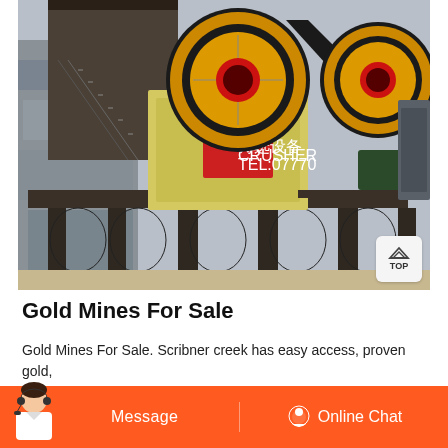[Figure (photo): Industrial jaw crusher / mining equipment mounted on a heavy steel platform, with large flywheel pulleys (yellow and black), conveyor belt drive, electric motor, and access staircase. Rocky/stone background. A white 'TOP' navigation badge is visible in the lower right of the image.]
Gold Mines For Sale
Gold Mines For Sale. Scribner creek has easy access, proven gold, this really tested for mining. The property for sale. The property is one of...